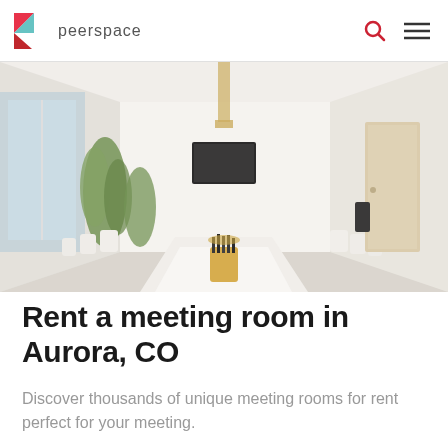peerspace
[Figure (photo): A bright, modern meeting room with a long white conference table, white chairs on both sides, tall indoor plants along the left wall, a black TV mounted at the far end, and large windows letting in natural light.]
Rent a meeting room in Aurora, CO
Discover thousands of unique meeting rooms for rent perfect for your meeting.